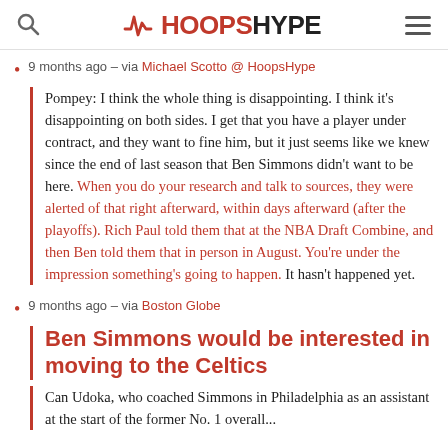HOOPSHYPE
9 months ago – via Michael Scotto @ HoopsHype
Pompey: I think the whole thing is disappointing. I think it's disappointing on both sides. I get that you have a player under contract, and they want to fine him, but it just seems like we knew since the end of last season that Ben Simmons didn't want to be here. When you do your research and talk to sources, they were alerted of that right afterward, within days afterward (after the playoffs). Rich Paul told them that at the NBA Draft Combine, and then Ben told them that in person in August. You're under the impression something's going to happen. It hasn't happened yet.
9 months ago – via Boston Globe
Ben Simmons would be interested in moving to the Celtics
Can Udoka, who coached Simmons in Philadelphia as an assistant at the start of the former No. 1 overall...